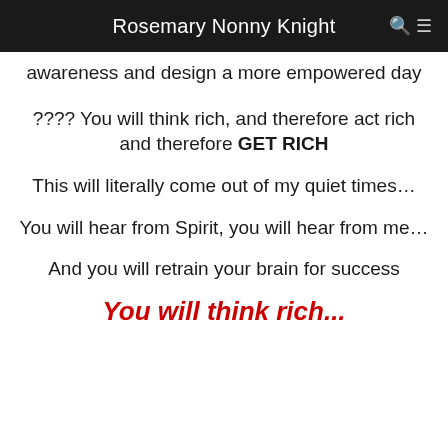Rosemary Nonny Knight
awareness and design a more empowered day
???? You will think rich, and therefore act rich and therefore GET RICH
This will literally come out of my quiet times...
You will hear from Spirit, you will hear from me...
And you will retrain your brain for success
You will think rich...